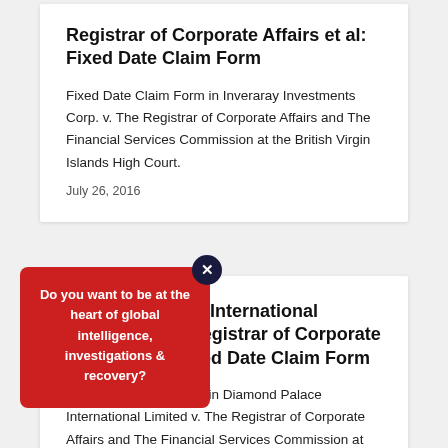Registrar of Corporate Affairs et al: Fixed Date Claim Form
Fixed Date Claim Form in Inveraray Investments Corp. v. The Registrar of Corporate Affairs and The Financial Services Commission at the British Virgin Islands High Court.
July 26, 2016
Diamond Palace International Limited v. BVI Registrar of Corporate Affairs et al: Fixed Date Claim Form
Fixed Date Claim Form in Diamond Palace International Limited v. The Registrar of Corporate Affairs and The Financial Services Commission at the